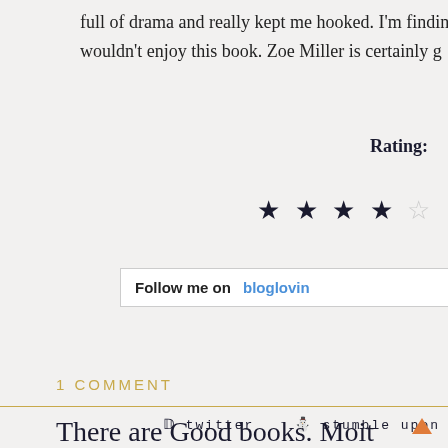full of drama and really kept me hooked. I'm findin wouldn't enjoy this book. Zoe Miller is certainly g
Rating:
[Figure (other): Star rating showing 4 out of 5 stars (4 filled dark stars and 1 empty star)]
Follow me on bloglovin
1 COMMENT
twitter   stumble upon
There are Good books. Most...